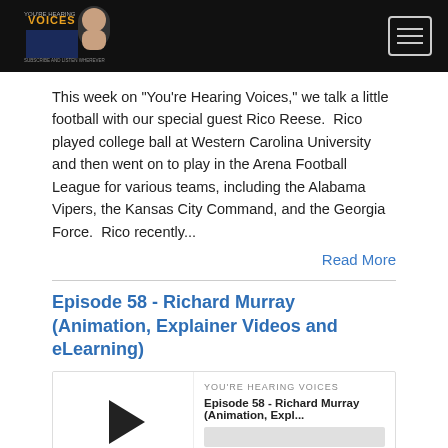[Figure (logo): You're Hearing Voices podcast logo with hamburger menu button on black header bar]
This week on "You're Hearing Voices," we talk a little football with our special guest Rico Reese.  Rico played college ball at Western Carolina University and then went on to play in the Arena Football League for various teams, including the Alabama Vipers, the Kansas City Command, and the Georgia Force.  Rico recently...
Read More
Episode 58 - Richard Murray (Animation, Explainer Videos and eLearning)
[Figure (screenshot): Podcast audio player widget showing Episode 58 - Richard Murray (Animation, Expl...) on YOU'RE HEARING VOICES, with play button, progress bar, time 00:00:00, and control icons for cast, download, embed, and settings]